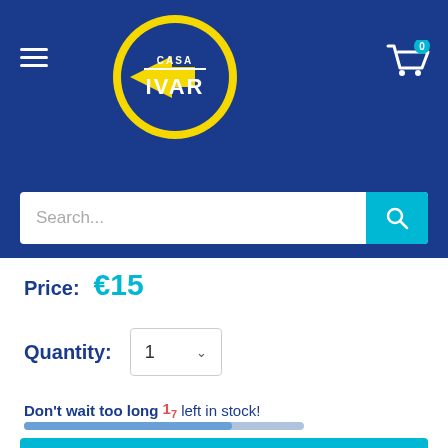[Figure (logo): Casa IVAR logo: yellow circle with a yellow arrow pointing left and CASA IVAR text in white on dark blue background]
Search...
Price: €15
Quantity: 1
Don't wait too long 17 left in stock!
Add to cart